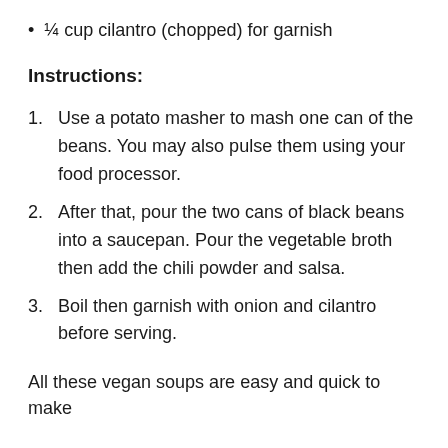¼ cup cilantro (chopped) for garnish
Instructions:
Use a potato masher to mash one can of the beans. You may also pulse them using your food processor.
After that, pour the two cans of black beans into a saucepan. Pour the vegetable broth then add the chili powder and salsa.
Boil then garnish with onion and cilantro before serving.
All these vegan soups are easy and quick to make